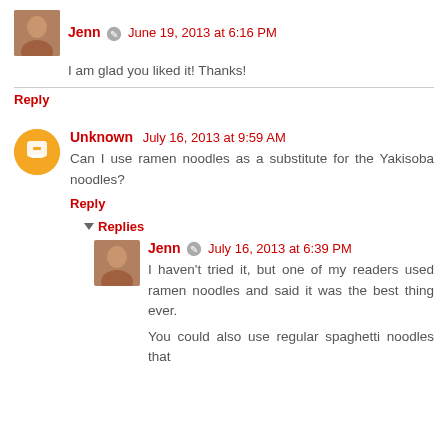Jenn ✏ June 19, 2013 at 6:16 PM
I am glad you liked it! Thanks!
Reply
Unknown July 16, 2013 at 9:59 AM
Can I use ramen noodles as a substitute for the Yakisoba noodles?
Reply
Replies
Jenn ✏ July 16, 2013 at 6:39 PM
I haven't tried it, but one of my readers used ramen noodles and said it was the best thing ever.
You could also use regular spaghetti noodles that